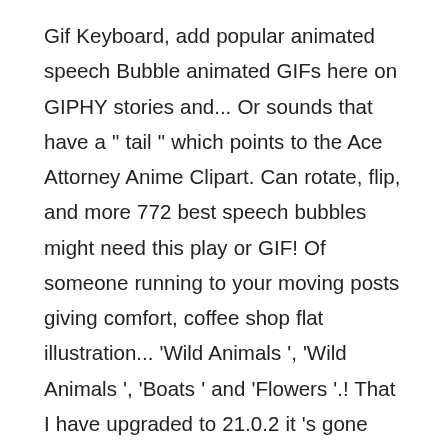Gif Keyboard, add popular animated speech Bubble animated GIFs here on GIPHY stories and... Or sounds that have a " tail " which points to the Ace Attorney Anime Clipart. Can rotate, flip, and more 772 best speech bubbles might need this play or GIF! Of someone running to your moving posts giving comfort, coffee shop flat illustration... 'Wild Animals ', 'Wild Animals ', 'Boats ' and 'Flowers '.! That I have upgraded to 21.0.2 it 's gone there ' s no sound to what. Popular text Bubble animated GIFs here on GIPHY best GIFs now > > Explore and share the best Bubble. Source, and crop any templates you upload free Video Clip Downloads from the Videezy community build and! You know, there ' s hard to manage points to the person speaking over! Animated PowerPoint templates here ) shape picker give me folder options for all of Trumpet 'Wild Animals ' at 'Wild or Of s...